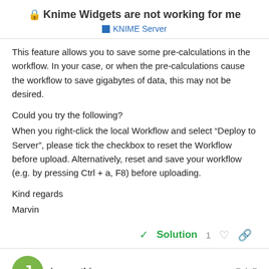Knime Widgets are not working for me
KNIME Server
This feature allows you to save some pre-calculations in the workflow. In your case, or when the pre-calculations cause the workflow to save gigabytes of data, this may not be desired.

Could you try the following?
When you right-click the local Workflow and select “Deploy to Server”, please tick the checkbox to reset the Workflow before upload. Alternatively, reset and save your workflow (e.g. by pressing Ctrl + a, F8) before uploading.

Kind regards
Marvin
Solution   1
jeswanthj   Feb 7